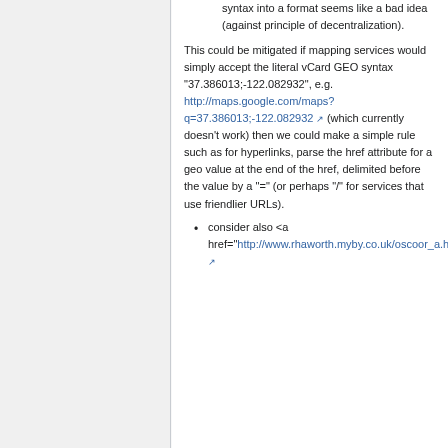syntax into a format seems like a bad idea (against principle of decentralization).
This could be mitigated if mapping services would simply accept the literal vCard GEO syntax "37.386013;-122.082932", e.g. http://maps.google.com/maps?q=37.386013;-122.082932 (which currently doesn't work) then we could make a simple rule such as for hyperlinks, parse the href attribute for a geo value at the end of the href, delimited before the value by a "=" (or perhaps "/" for services that use friendlier URLs).
consider also <a href="http://www.rhaworth.myby.co.uk/oscoor_a.htm?...